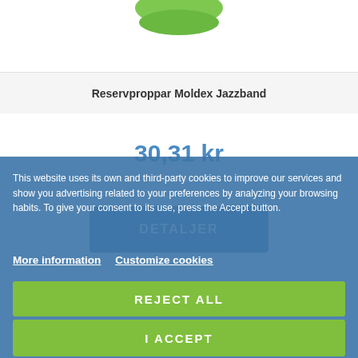[Figure (photo): Product image area at top of page (partially visible, cropped at top)]
Reservproppar Moldex Jazzband
30,31 kr
DETALJER
This website uses its own and third-party cookies to improve our services and show you advertising related to your preferences by analyzing your browsing habits. To give your consent to its use, press the Accept button.
More information   Customize cookies
REJECT ALL
I ACCEPT